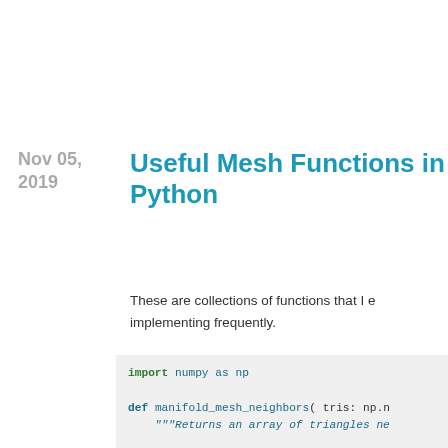Nov 05, 2019
Useful Mesh Functions in Python
These are collections of functions that I end up implementing frequently.
import numpy as np

def manifold_mesh_neighbors( tris: np.n
    """Returns an array of triangles ne

    Args:
        tris (Nx3 int array): triangle

    Returns:
        nbrs (Nx3 int array): neighbor
            or -1 if boundary edge
    """
    if tris.shape[1] != 3:
        raise ValueError('Expected a Nx

    e2t = {}
    for idx,(a,b,c) in enumerate(tris):